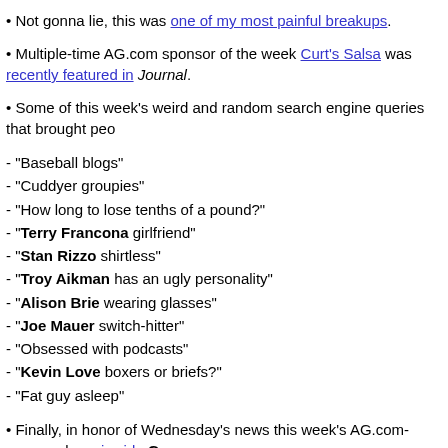Not gonna lie, this was one of my most painful breakups.
Multiple-time AG.com sponsor of the week Curt's Salsa was recently featured in Journal.
Some of this week's weird and random search engine queries that brought peo
- "Baseball blogs"
- "Cuddyer groupies"
- "How long to lose tenths of a pound?"
- "Terry Francona girlfriend"
- "Stan Rizzo shirtless"
- "Troy Aikman has an ugly personality"
- "Alison Brie wearing glasses"
- "Joe Mauer switch-hitter"
- "Obsessed with podcasts"
- "Kevin Love boxers or briefs?"
- "Fat guy asleep"
Finally, in honor of Wednesday's news this week's AG.com-approved music vide Green: